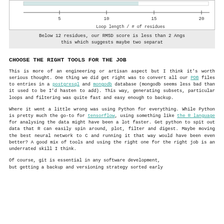[Figure (continuous-plot): Partial view of a chart showing x-axis labeled 'Loop length / # of residues' with tick marks at 5, 10, 15, 20. Top portion is cut off showing only the bottom axis area.]
Below 12 residues, our RMSD score is less than 2 Angs this which suggests maybe two separat
CHOOSE THE RIGHT TOOLS FOR THE JOB
This is more of an engineering or artisan aspect but I think it's worth serious thought. One thing we did get right was to convert all our PDB files to entries in a postgresql and mongodb database (mongodb seems less bad than it used to be I'd hasten to add). This way, generating subsets, particular loops and filtering was quite fast and easy enough to backup.
Where it went a little wrong was using Python for everything. While Python is pretty much the go-to for tensorflow, using something like the R language for analysing the data might have been a lot faster. Get python to spit out data that R can easily spin around, plot, filter and digest. Maybe moving the best neural network to C and running it that way would have been even better? A good mix of tools and using the right one for the right job is an underrated skill I think.
Of course, git is essential in any software development, but getting a backup and versioning strategy sorted early